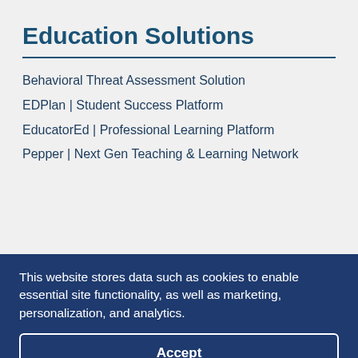Education Solutions
Behavioral Threat Assessment Solution
EDPlan | Student Success Platform
EducatorEd | Professional Learning Platform
Pepper | Next Gen Teaching & Learning Network
Project Success Resource Center
SAbre | Statewide Assessment Tool
Teach Every Child Connector
Title 1 Next | Optimized Administration and Operational Efficiency
This website stores data such as cookies to enable essential site functionality, as well as marketing, personalization, and analytics.
Accept
Deny